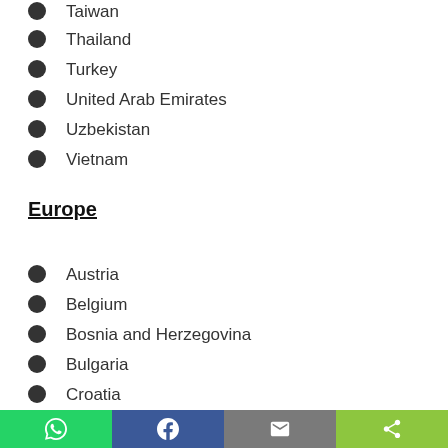Taiwan
Thailand
Turkey
United Arab Emirates
Uzbekistan
Vietnam
Europe
Austria
Belgium
Bosnia and Herzegovina
Bulgaria
Croatia
Czechia
Denmark (partial)